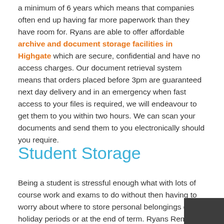a minimum of 6 years which means that companies often end up having far more paperwork than they have room for. Ryans are able to offer affordable archive and document storage facilities in Highgate which are secure, confidential and have no access charges. Our document retrieval system means that orders placed before 3pm are guaranteed next day delivery and in an emergency when fast access to your files is required, we will endeavour to get them to you within two hours. We can scan your documents and send them to you electronically should you require.
Student Storage
Being a student is stressful enough what with lots of course work and exams to do without then having to worry about where to store personal belongings during holiday periods or at the end of term. Ryans Removals offers discounts on student storage in Highgate whether it long term or short term and